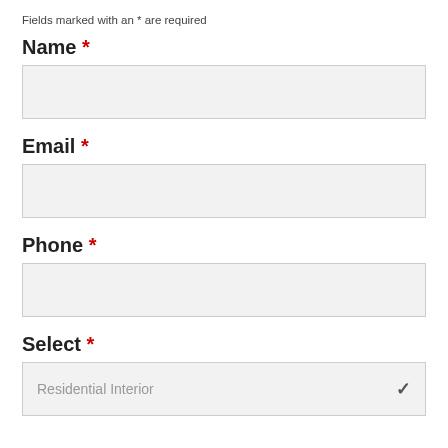Fields marked with an * are required
Name *
[Figure (other): Empty text input field for Name]
Email *
[Figure (other): Empty text input field for Email]
Phone *
[Figure (other): Empty text input field for Phone]
Select *
[Figure (other): Dropdown select field showing 'Residential Interior' with chevron arrow]